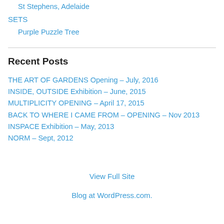St Stephens, Adelaide
SETS
Purple Puzzle Tree
Recent Posts
THE ART OF GARDENS Opening – July, 2016
INSIDE, OUTSIDE Exhibition – June, 2015
MULTIPLICITY OPENING – April 17, 2015
BACK TO WHERE I CAME FROM – OPENING – Nov 2013
INSPACE Exhibition – May, 2013
NORM – Sept, 2012
View Full Site
Blog at WordPress.com.